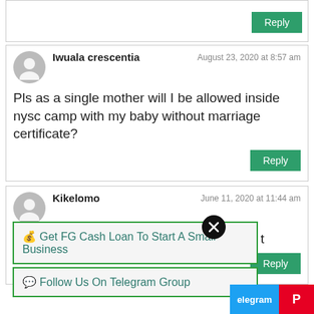[Partial comment with Reply button]
Iwuala crescentia — August 23, 2020 at 8:57 am
Pls as a single mother will I be allowed inside nysc camp with my baby without marriage certificate?
Kikelomo — June 11, 2020 at 11:44 am
Which certificate is required for nysc  t registry
💰 Get FG Cash Loan To Start A Small Business
💬 Follow Us On Telegram Group